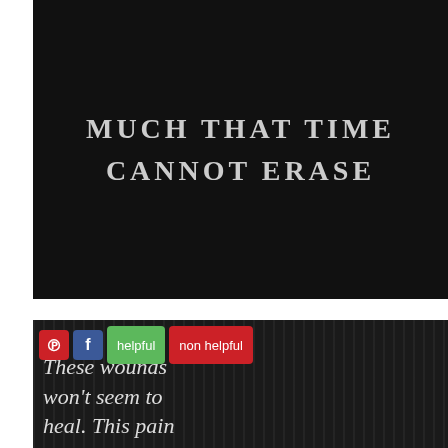[Figure (photo): Dark black background with white/gray decorative uppercase text reading 'much that time cannot erase']
[Figure (photo): Dark background with curtain texture, social buttons (Pinterest, Facebook, helpful, non helpful) overlaid, cursive white text reading 'These wounds won't seem to heal. This pain is just to real']